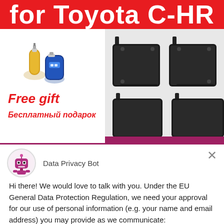for Toyota C-HR
[Figure (photo): Car charger USB adapters (gold and blue) as free gift items]
Free gift
Бесплатный подарок
[Figure (photo): Four black plastic mud flaps/splash guards for Toyota C-HR]
[Figure (illustration): Data Privacy Bot robot icon in pink/magenta circle]
Data Privacy Bot
Hi there! We would love to talk with you. Under the EU General Data Protection Regulation, we need your approval for our use of personal information (e.g. your name and email address) you may provide as we communicate:
Yes, I Accept
No, Not Now